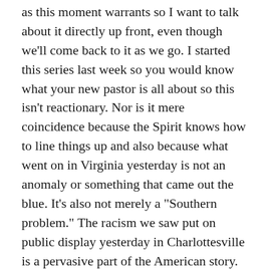as this moment warrants so I want to talk about it directly up front, even though we'll come back to it as we go. I started this series last week so you would know what your new pastor is all about so this isn't reactionary. Nor is it mere coincidence because the Spirit knows how to line things up and also because what went on in Virginia yesterday is not an anomaly or something that came out the blue. It's also not merely a "Southern problem." The racism we saw put on public display yesterday in Charlottesville is a pervasive part of the American story. From the way the earliest colonizers interacted with the native Americans they encountered in this new-to-them world, through a national economy built on slavery, through the period of brutal subjugation in the Jim Crow South and barely-more-subtle discrimination in the rest of the country, all the way down to the